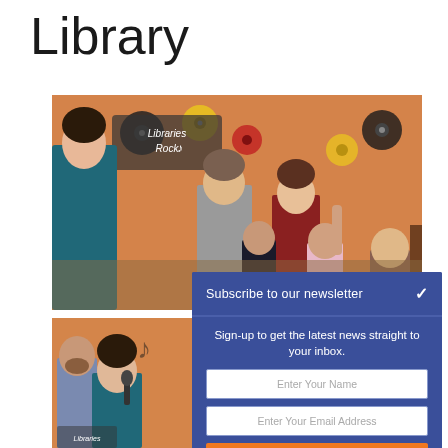Library
[Figure (photo): Photo of a librarian or presenter standing in a colorful room with children and adults, with 'Libraries Rock' decoration on the orange wall]
[Figure (photo): Second photo showing a woman singing or speaking into a microphone, partial view]
Subscribe to our newsletter
Sign-up to get the latest news straight to your inbox.
Enter Your Name
Enter Your Email Address
SUBSCRIBE!
Give it a try, you can unsubscribe anytime.